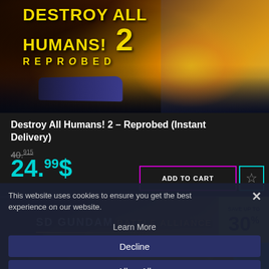[Figure (screenshot): Destroy All Humans! 2 Reprobed game banner with yellow/orange artwork showing robot and car]
Destroy All Humans! 2 – Reprobed (Instant Delivery)
40.915 (strikethrough original price)
24.99$
ADD TO CART
[Figure (screenshot): SD Gundam Battle Alliance game banner with Save up to 30% badge]
Save up to 30%
SD GUNDAM BATTLE ALLIANCE
This website uses cookies to ensure you get the best experience on our website.
Learn More
Decline
Allow All